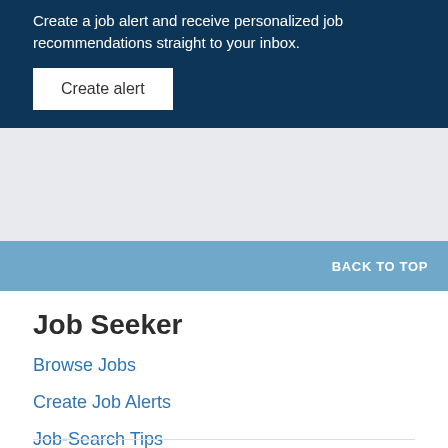Create a job alert and receive personalized job recommendations straight to your inbox.
Create alert
BACK TO TOP
Job Seeker
Browse Jobs
Create Job Alerts
Job-Search Tips